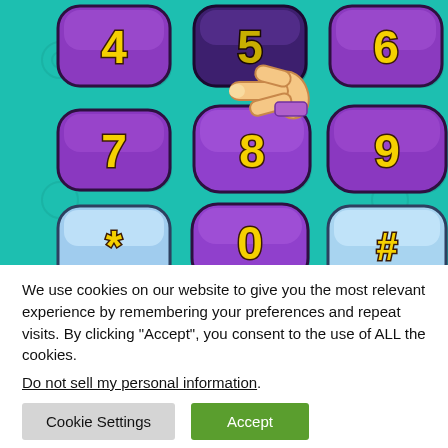[Figure (illustration): Cartoon-style phone keypad with purple and blue rounded buttons on teal background. Numbers 4-9 visible, plus *, 0, # buttons. A cartoon hand is pressing the 5 button (which appears darker/selected). Numbers are yellow with black outline cartoonish style.]
We use cookies on our website to give you the most relevant experience by remembering your preferences and repeat visits. By clicking “Accept”, you consent to the use of ALL the cookies.
Do not sell my personal information.
Cookie Settings   Accept